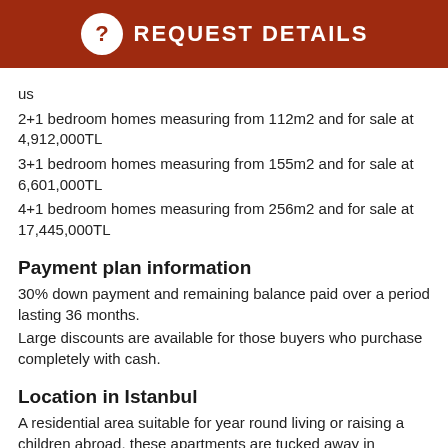REQUEST DETAILS
us
2+1 bedroom homes measuring from 112m2 and for sale at 4,912,000TL
3+1 bedroom homes measuring from 155m2 and for sale at 6,601,000TL
4+1 bedroom homes measuring from 256m2 and for sale at 17,445,000TL
Payment plan information
30% down payment and remaining balance paid over a period lasting 36 months.
Large discounts are available for those buyers who purchase completely with cash.
Location in Istanbul
A residential area suitable for year round living or raising a children abroad, these apartments are tucked away in Basaksehir area of Istanbul. Daily amenities including weekly markets and local shops can all be reached on foot. For those commuting for work, there is